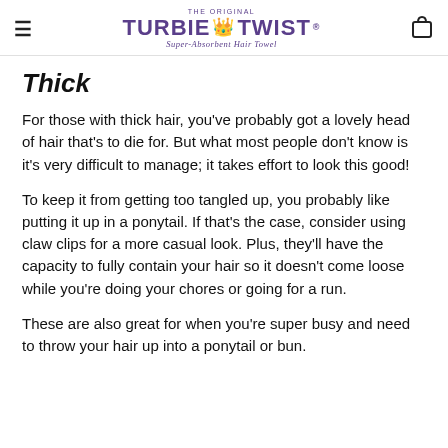THE ORIGINAL TURBIE TWIST Super-Absorbent Hair Towel
Thick
For those with thick hair, you've probably got a lovely head of hair that's to die for. But what most people don't know is it's very difficult to manage; it takes effort to look this good!
To keep it from getting too tangled up, you probably like putting it up in a ponytail. If that's the case, consider using claw clips for a more casual look. Plus, they'll have the capacity to fully contain your hair so it doesn't come loose while you're doing your chores or going for a run.
These are also great for when you're super busy and need to throw your hair up into a ponytail or bun.